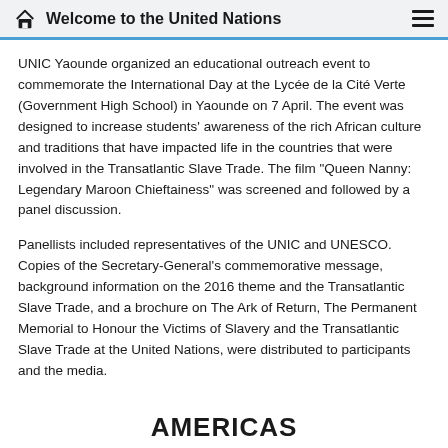Welcome to the United Nations
UNIC Yaounde organized an educational outreach event to commemorate the International Day at the Lycée de la Cité Verte (Government High School) in Yaounde on 7 April.  The event was designed to increase students' awareness of the rich African culture and traditions that have impacted life in the countries that were involved in the Transatlantic Slave Trade. The film "Queen Nanny: Legendary Maroon Chieftainess" was screened and followed by a panel discussion.
Panellists included representatives of the UNIC and UNESCO.  Copies of the Secretary-General's commemorative message, background information on the 2016 theme and the Transatlantic Slave Trade, and a brochure on The Ark of Return, The Permanent Memorial to Honour the Victims of Slavery and the Transatlantic Slave Trade at the United Nations, were distributed to participants and the media.
AMERICAS